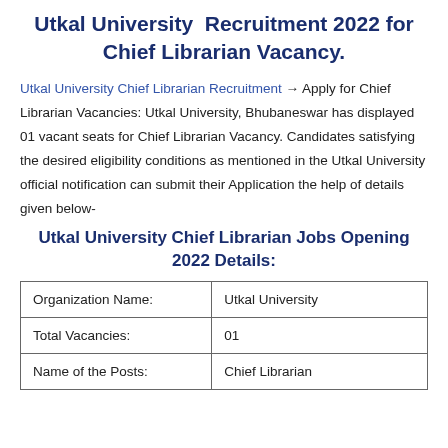Utkal University Recruitment 2022 for Chief Librarian Vacancy.
Utkal University Chief Librarian Recruitment → Apply for Chief Librarian Vacancies: Utkal University, Bhubaneswar has displayed 01 vacant seats for Chief Librarian Vacancy. Candidates satisfying the desired eligibility conditions as mentioned in the Utkal University official notification can submit their Application the help of details given below-
Utkal University Chief Librarian Jobs Opening 2022 Details:
| Organization Name: | Utkal University |
| Total Vacancies: | 01 |
| Name of the Posts: | Chief Librarian |